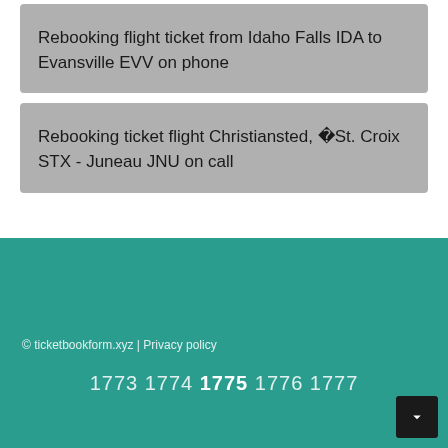Rebooking flight ticket from Idaho Falls IDA to Evansville EVV on phone
Rebooking ticket flight Christiansted, �St. Croix STX - Juneau JNU on call
© ticketbookform.xyz | Privacy policy
1773 1774 1775 1776 1777